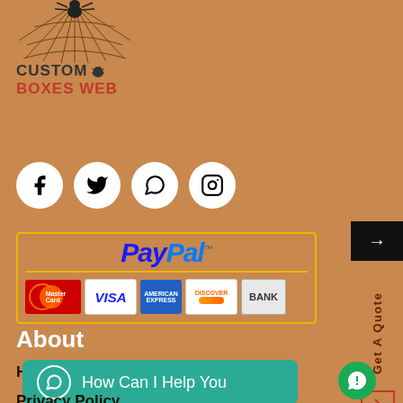[Figure (logo): Custom Boxes Web logo with spider web graphic on top, text CUSTOM with spider icon and BOXES WEB in red below]
[Figure (infographic): Four social media icons in white circles: Facebook, Twitter, WhatsApp, Instagram]
[Figure (infographic): PayPal payment accepted banner with gold border showing PayPal logo, MasterCard, Visa, American Express, Discover, Bank payment options]
About
History
Brand Guidelines
[Figure (infographic): Teal/green WhatsApp-style help button reading: How Can I Help You]
Privacy Policy